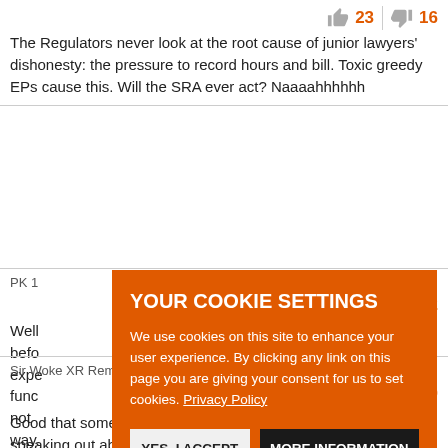The Regulators never look at the root cause of junior lawyers' dishonesty: the pressure to record hours and bill. Toxic greedy EPs cause this. Will the SRA ever act? Naaaahhhhhh
PK 1
Well... [partial text visible]
[Figure (screenshot): Cookie consent overlay on orange background with title YOUR COOKIE SETTINGS, body text about cookies and privacy policy link, and two buttons: YES, I ACCEPT and MORE INFORMATION]
Sir Woke XR Remainer FBPE MBE 11 October 21 12:12
Good that someone higher up the chain of the industry is speaking out about this. The Matthews case was an